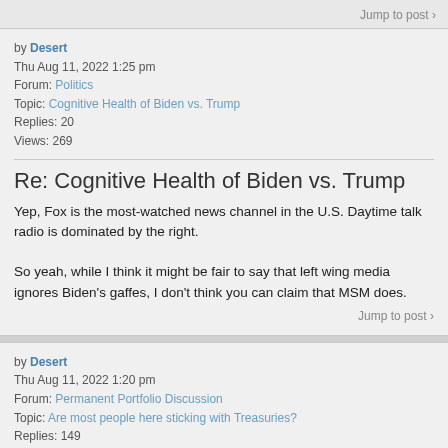Jump to post >
by Desert
Thu Aug 11, 2022 1:25 pm
Forum: Politics
Topic: Cognitive Health of Biden vs. Trump
Replies: 20
Views: 269
Re: Cognitive Health of Biden vs. Trump
Yep, Fox is the most-watched news channel in the U.S. Daytime talk radio is dominated by the right.

So yeah, while I think it might be fair to say that left wing media ignores Biden's gaffes, I don't think you can claim that MSM does.
Jump to post >
by Desert
Thu Aug 11, 2022 1:20 pm
Forum: Permanent Portfolio Discussion
Topic: Are most people here sticking with Treasuries?
Replies: 149
Views: 9111
Re: Are most people here sticking with Treasuries?